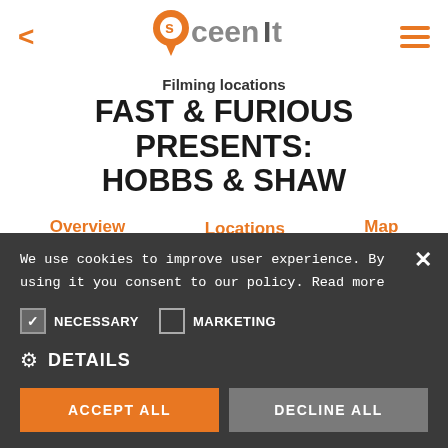[Figure (logo): Sceenit app logo with orange location pin and grey text]
Filming locations
FAST & FURIOUS PRESENTS: HOBBS & SHAW
Overview   Locations   Map
Home of Hobbs auto/ motorcycle shop in Samoa where Shaw and Hobbs and his family fight Brixton and his
We use cookies to improve user experience. By using it you consent to our policy. Read more
NECESSARY   MARKETING
DETAILS
ACCEPT ALL   DECLINE ALL